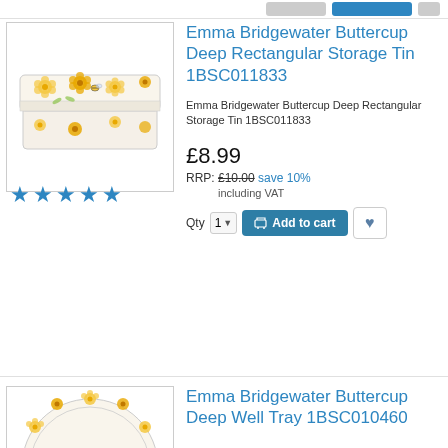[Figure (photo): Emma Bridgewater Buttercup Deep Rectangular Storage Tin with yellow buttercup flower pattern on white background]
Emma Bridgewater Buttercup Deep Rectangular Storage Tin 1BSC011833
Emma Bridgewater Buttercup Deep Rectangular Storage Tin 1BSC011833
£8.99
RRP: £10.00 save 10%
including VAT
[Figure (photo): Emma Bridgewater Buttercup Deep Well Tray with yellow buttercup flower pattern, showing top portion]
Emma Bridgewater Buttercup Deep Well Tray 1BSC010460